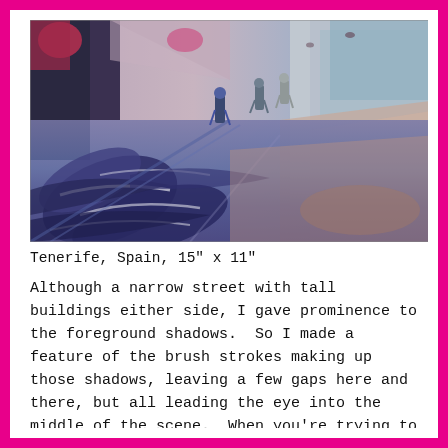[Figure (illustration): Watercolor painting of a narrow street scene in Tenerife, Spain. The foreground shows bold, expressive brush strokes forming shadows in blues and purples on the street. Several figures are walking in the middle distance, with tall buildings on either side. The palette includes deep blue-purples, pinks, mauves, and warm ochres.]
Tenerife, Spain, 15" x 11"
Although a narrow street with tall buildings either side, I gave prominence to the foreground shadows.  So I made a feature of the brush strokes making up those shadows, leaving a few gaps here and there, but all leading the eye into the middle of the scene.  When you're trying to get in some continuous marks like this